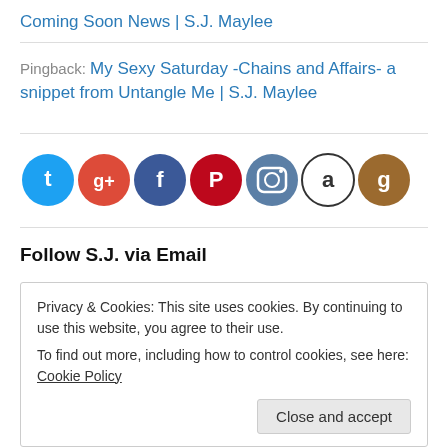Coming Soon News | S.J. Maylee
Pingback: My Sexy Saturday -Chains and Affairs- a snippet from Untangle Me | S.J. Maylee
[Figure (other): Row of social media icons: Twitter (blue), Google+ (red), Facebook (blue), Pinterest (red), Instagram (dark blue/grey), Amazon (white/black), Goodreads (brown)]
Follow S.J. via Email
Privacy & Cookies: This site uses cookies. By continuing to use this website, you agree to their use.
To find out more, including how to control cookies, see here: Cookie Policy
Close and accept